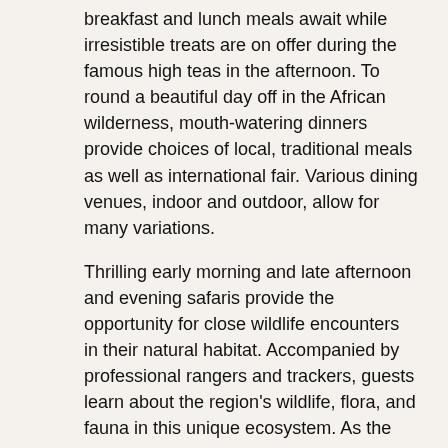breakfast and lunch meals await while irresistible treats are on offer during the famous high teas in the afternoon. To round a beautiful day off in the African wilderness, mouth-watering dinners provide choices of local, traditional meals as well as international fair. Various dining venues, indoor and outdoor, allow for many variations.
Thrilling early morning and late afternoon and evening safaris provide the opportunity for close wildlife encounters in their natural habitat. Accompanied by professional rangers and trackers, guests learn about the region's wildlife, flora, and fauna in this unique ecosystem. As the Thornybush Game Reserve borders the Greater Kruger National Park, this area is known for its abundance of animals as well as birdlife.
To reach Tangala from Johannesburg it takes about 4 and a bit hours by car. Travellers can also access Tangala via the Hoedspruit Airport from where the camp is only a 32 minutes drive away. Direct flights from Cape Town and Johannesburg can be booked to Hoedspruit making this